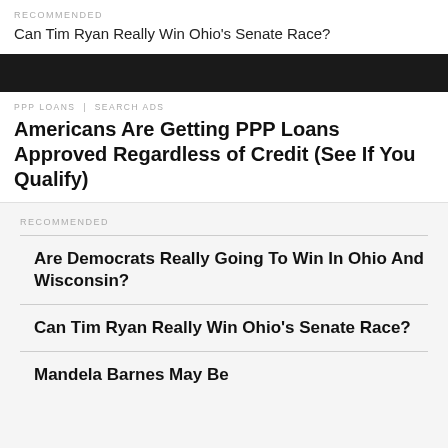RECOMMENDED
Can Tim Ryan Really Win Ohio’s Senate Race?
[Figure (photo): Dark/black image strip, partial photo visible at top]
PPP LOANS | SEARCH ADS
Americans Are Getting PPP Loans Approved Regardless of Credit (See If You Qualify)
RECOMMENDED
Are Democrats Really Going To Win In Ohio And Wisconsin?
Can Tim Ryan Really Win Ohio’s Senate Race?
Mandela Barnes May Be